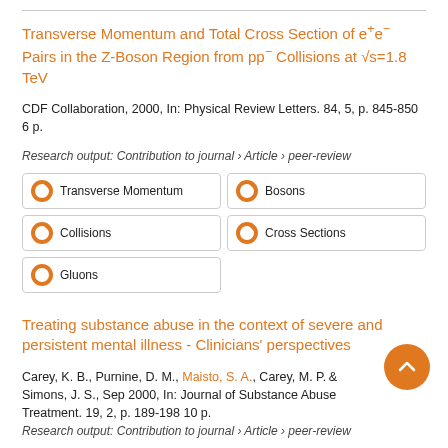Transverse Momentum and Total Cross Section of e+e- Pairs in the Z-Boson Region from pp- Collisions at √s=1.8 TeV
CDF Collaboration, 2000, In: Physical Review Letters. 84, 5, p. 845-850 6 p.
Research output: Contribution to journal › Article › peer-review
Transverse Momentum
Bosons
Collisions
Cross Sections
Gluons
Treating substance abuse in the context of severe and persistent mental illness - Clinicians' perspectives
Carey, K. B., Purnine, D. M., Maisto, S. A., Carey, M. P., Simons, J. S., Sep 2000, In: Journal of Substance Abuse Treatment. 19, 2, p. 189-198 10 p.
Research output: Contribution to journal › Article › peer-review